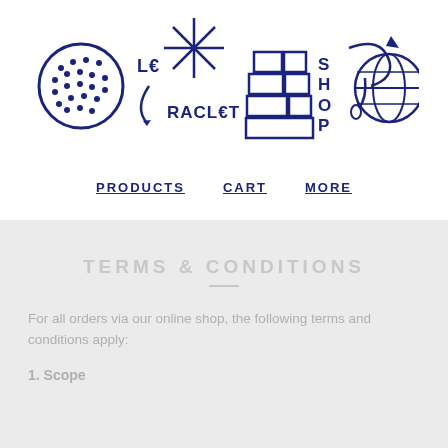[Figure (logo): Le Raclet Shop logo with icons: golf ball, star/sparkle, brick wall, globe and text LE RACLET SHOP]
PRODUCTS   CART   MORE
TERMS & CONDITIONS
For all orders via our online shop, the following terms and conditions apply:
1. Scope